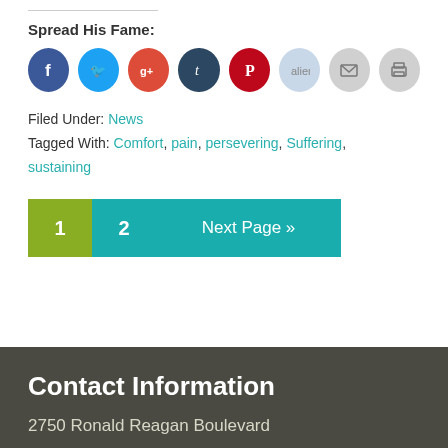Spread His Fame:
[Figure (infographic): Row of 8 social sharing icon circles: Facebook (dark blue), Twitter (light blue), Google+ (red-orange), Tumblr (dark navy), Pinterest (dark red), Reddit (light blue-grey), Email (grey), Print (grey)]
Filed Under: News
Tagged With: Comfort, pain, persevering, Suffering, sustaining
[Figure (infographic): Pagination buttons: '1' in olive green, '2' in teal, 'Next Page »' in teal]
Contact Information
2750 Ronald Reagan Boulevard